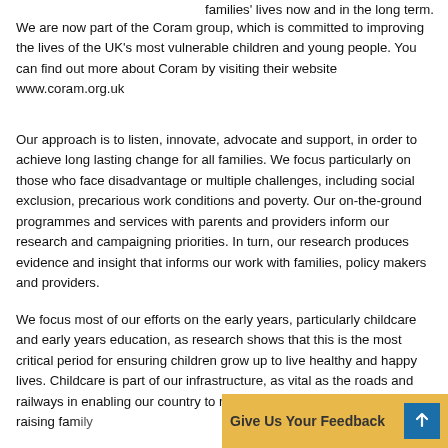families' lives now and in the long term.
We are now part of the Coram group, which is committed to improving the lives of the UK's most vulnerable children and young people. You can find out more about Coram by visiting their website www.coram.org.uk
Our approach is to listen, innovate, advocate and support, in order to achieve long lasting change for all families. We focus particularly on those who face disadvantage or multiple challenges, including social exclusion, precarious work conditions and poverty. Our on-the-ground programmes and services with parents and providers inform our research and campaigning priorities. In turn, our research produces evidence and insight that informs our work with families, policy makers and providers.
We focus most of our efforts on the early years, particularly childcare and early years education, as research shows that this is the most critical period for ensuring children grow up to live healthy and happy lives. Childcare is part of our infrastructure, as vital as the roads and railways in enabling our country to run. It enables parents to work, raising family